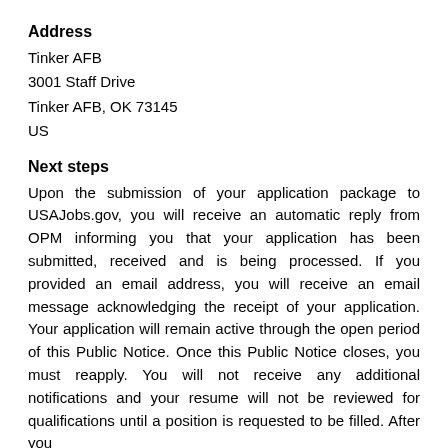Address
Tinker AFB
3001 Staff Drive
Tinker AFB, OK 73145
US
Next steps
Upon the submission of your application package to USAJobs.gov, you will receive an automatic reply from OPM informing you that your application has been submitted, received and is being processed. If you provided an email address, you will receive an email message acknowledging the receipt of your application. Your application will remain active through the open period of this Public Notice. Once this Public Notice closes, you must reapply. You will not receive any additional notifications and your resume will not be reviewed for qualifications until a position is requested to be filled. After you